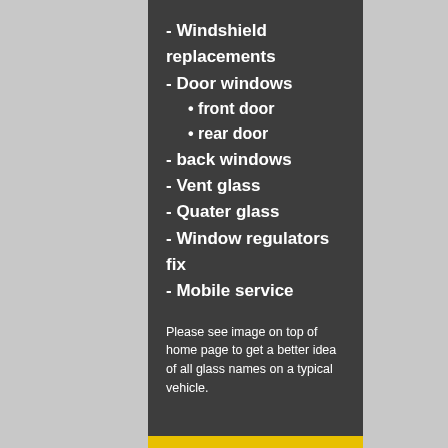- Windshield replacements
- Door windows
• front door
• rear door
- back windows
- Vent glass
- Quater glass
- Window regulators fix
- Mobile service
Please see image on top of home page to get a better idea of all glass names on a typical vehicle.